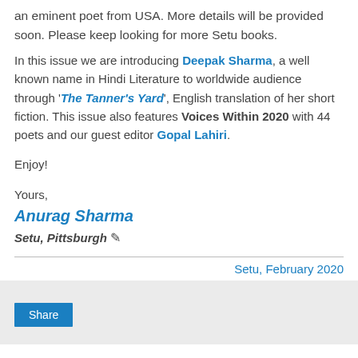an eminent poet from USA. More details will be provided soon. Please keep looking for more Setu books.
In this issue we are introducing Deepak Sharma, a well known name in Hindi Literature to worldwide audience through 'The Tanner's Yard', English translation of her short fiction. This issue also features Voices Within 2020 with 44 poets and our guest editor Gopal Lahiri.
Enjoy!
Yours,
Anurag Sharma
Setu, Pittsburgh ✏
Setu, February 2020
[Figure (other): Share button area with light gray background]